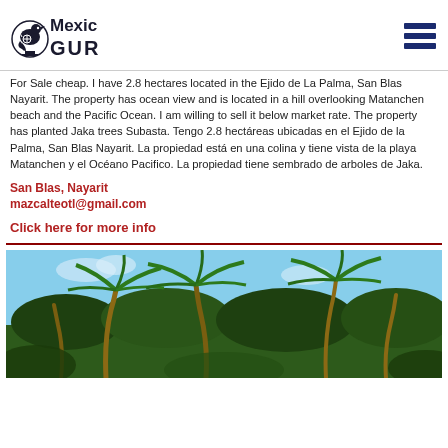[Figure (logo): Mexico Guru logo with stylized bird/Aztec symbol and text 'Mexico GURU']
For Sale cheap. I have 2.8 hectares located in the Ejido de La Palma, San Blas Nayarit. The property has ocean view and is located in a hill overlooking Matanchen beach and the Pacific Ocean. I am willing to sell it below market rate. The property has planted Jaka trees Subasta. Tengo 2.8 hectáreas ubicadas en el Ejido de la Palma, San Blas Nayarit. La propiedad está en una colina y tiene vista de la playa Matanchen y el Océano Pacifico. La propiedad tiene sembrado de arboles de Jaka.
San Blas, Nayarit
mazcalteotl@gmail.com
Click here for more info
[Figure (photo): Photo of palm trees against a blue sky, tropical beach setting]